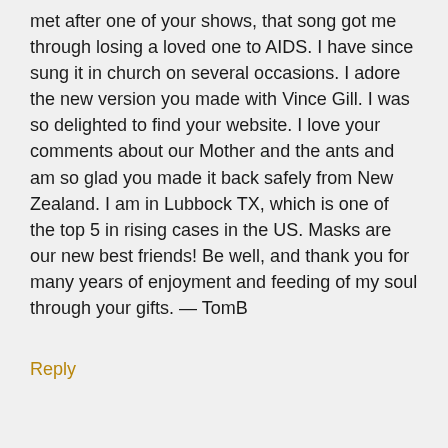met after one of your shows, that song got me through losing a loved one to AIDS. I have since sung it in church on several occasions. I adore the new version you made with Vince Gill. I was so delighted to find your website. I love your comments about our Mother and the ants and am so glad you made it back safely from New Zealand. I am in Lubbock TX, which is one of the top 5 in rising cases in the US. Masks are our new best friends! Be well, and thank you for many years of enjoyment and feeding of my soul through your gifts. — TomB
Reply